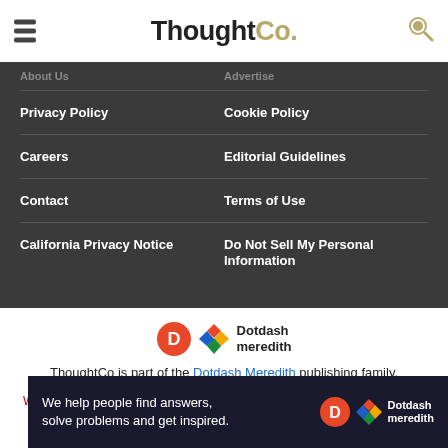ThoughtCo.
About Us | Advertise
Privacy Policy | Cookie Policy
Careers | Editorial Guidelines
Contact | Terms of Use
California Privacy Notice | Do Not Sell My Personal Information
[Figure (logo): Dotdash Meredith logo — orange circle with D, colorful geometric pattern, text 'Dotdash meredith']
ThoughtCo is part of the Dotdash Meredith publishing family.
We've updated our Privacy Policy, which will go in to effect on September 1, 2022. Review our Privacy Policy
[Figure (illustration): Ad banner: dark background with text 'We help people find answers, solve problems and get inspired.' and Dotdash Meredith logo]